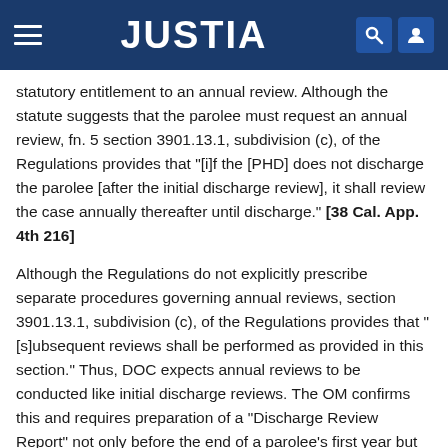JUSTIA
statutory entitlement to an annual review. Although the statute suggests that the parolee must request an annual review, fn. 5 section 3901.13.1, subdivision (c), of the Regulations provides that "[i]f the [PHD] does not discharge the parolee [after the initial discharge review], it shall review the case annually thereafter until discharge." [38 Cal. App. 4th 216]
Although the Regulations do not explicitly prescribe separate procedures governing annual reviews, section 3901.13.1, subdivision (c), of the Regulations provides that "[s]ubsequent reviews shall be performed as provided in this section." Thus, DOC expects annual reviews to be conducted like initial discharge reviews. The OM confirms this and requires preparation of a "Discharge Review Report" not only before the end of a parolee's first year but also "at least 20 days prior to